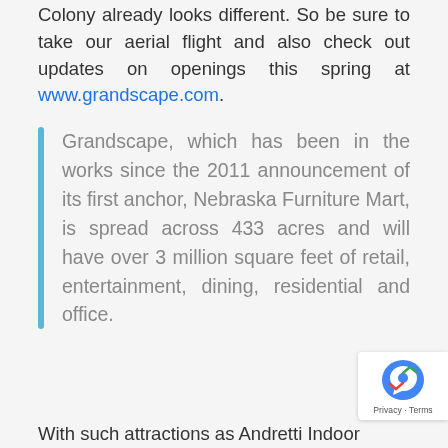Colony already looks different. So be sure to take our aerial flight and also check out updates on openings this spring at www.grandscape.com.
Grandscape, which has been in the works since the 2011 announcement of its first anchor, Nebraska Furniture Mart, is spread across 433 acres and will have over 3 million square feet of retail, entertainment, dining, residential and office.
With such attractions as Andretti Indoor